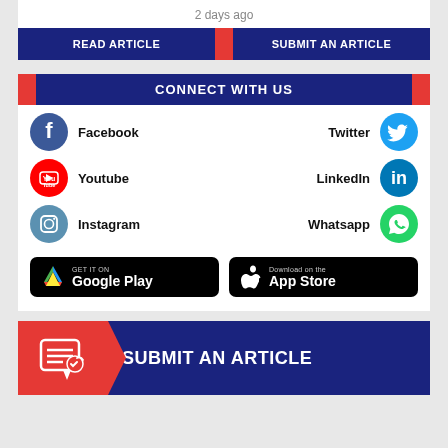2 days ago
READ ARTICLE | SUBMIT AN ARTICLE
CONNECT WITH US
Facebook
Twitter
Youtube
LinkedIn
Instagram
Whatsapp
[Figure (logo): GET IT ON Google Play badge]
[Figure (logo): Download on the App Store badge]
SUBMIT AN ARTICLE